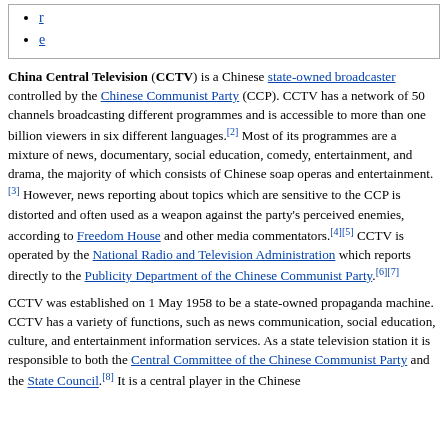r
e
China Central Television (CCTV) is a Chinese state-owned broadcaster controlled by the Chinese Communist Party (CCP). CCTV has a network of 50 channels broadcasting different programmes and is accessible to more than one billion viewers in six different languages.[2] Most of its programmes are a mixture of news, documentary, social education, comedy, entertainment, and drama, the majority of which consists of Chinese soap operas and entertainment.[3] However, news reporting about topics which are sensitive to the CCP is distorted and often used as a weapon against the party's perceived enemies, according to Freedom House and other media commentators.[4][5] CCTV is operated by the National Radio and Television Administration which reports directly to the Publicity Department of the Chinese Communist Party.[6][7]
CCTV was established on 1 May 1958 to be a state-owned propaganda machine. CCTV has a variety of functions, such as news communication, social education, culture, and entertainment information services. As a state television station it is responsible to both the Central Committee of the Chinese Communist Party and the State Council.[8] It is a central player in the Chinese...